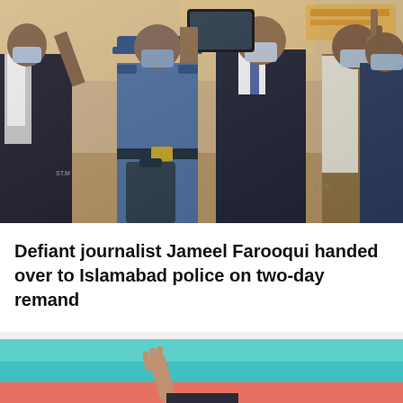[Figure (photo): A group of people at what appears to be an airport or indoor public space. Several men wearing blue surgical masks, one in a blue police uniform. A man in a dark suit is taking a selfie with a phone. Some people are making gestures. Luggage visible in the background.]
Defiant journalist Jameel Farooqui handed over to Islamabad police on two-day remand
[Figure (photo): A person with raised hand against a teal/turquoise and salmon/pink background, partially visible at bottom of page. Appears to be a rally or event scene.]